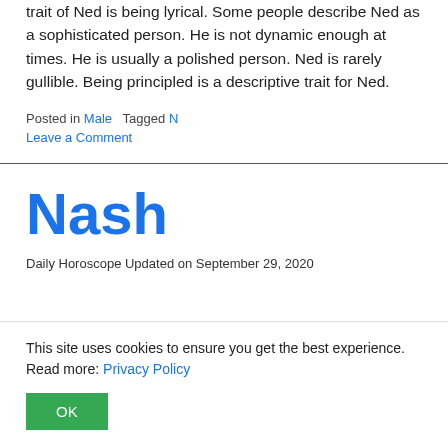trait of Ned is being lyrical. Some people describe Ned as a sophisticated person. He is not dynamic enough at times. He is usually a polished person. Ned is rarely gullible. Being principled is a descriptive trait for Ned.
Posted in Male   Tagged N
Leave a Comment
Nash
Daily Horoscope Updated on September 29, 2020
This site uses cookies to ensure you get the best experience. Read more: Privacy Policy